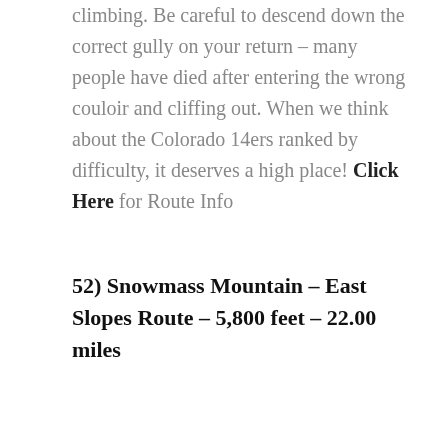climbing. Be careful to descend down the correct gully on your return – many people have died after entering the wrong couloir and cliffing out. When we think about the Colorado 14ers ranked by difficulty, it deserves a high place! Click Here for Route Info
52) Snowmass Mountain – East Slopes Route – 5,800 feet – 22.00 miles